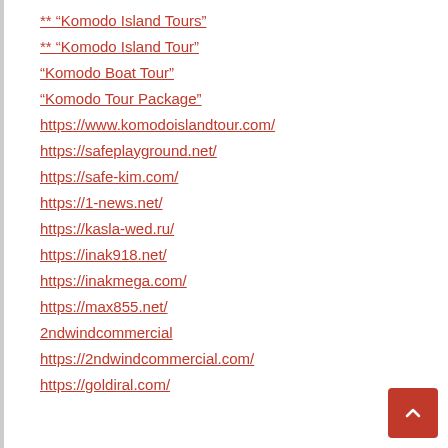** “Komodo Island Tours”
** “Komodo Island Tour”
“Komodo Boat Tour”
“Komodo Tour Package”
https://www.komodoislandtour.com/
https://safeplayground.net/
https://safe-kim.com/
https://1-news.net/
https://kasla-wed.ru/
https://inak918.net/
https://inakmega.com/
https://max855.net/
2ndwindcommercial
https://2ndwindcommercial.com/
https://goldiral.com/